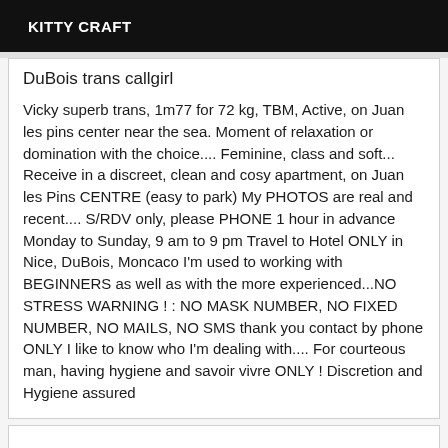KITTY CRAFT
DuBois trans callgirl
Vicky superb trans, 1m77 for 72 kg, TBM, Active, on Juan les pins center near the sea. Moment of relaxation or domination with the choice.... Feminine, class and soft... Receive in a discreet, clean and cosy apartment, on Juan les Pins CENTRE (easy to park) My PHOTOS are real and recent.... S/RDV only, please PHONE 1 hour in advance Monday to Sunday, 9 am to 9 pm Travel to Hotel ONLY in Nice, DuBois, Moncaco I'm used to working with BEGINNERS as well as with the more experienced...NO STRESS WARNING ! : NO MASK NUMBER, NO FIXED NUMBER, NO MAILS, NO SMS thank you contact by phone ONLY I like to know who I'm dealing with.... For courteous man, having hygiene and savoir vivre ONLY ! Discretion and Hygiene assured